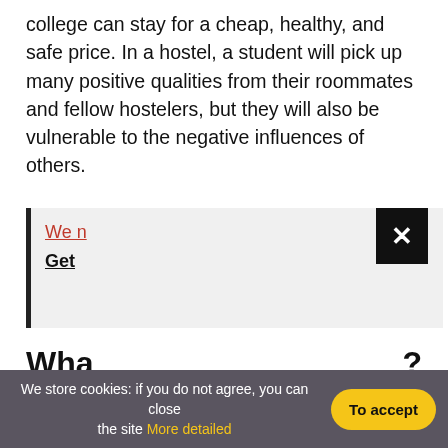A hostel is a place where students of a school or college can stay for a cheap, healthy, and safe price. In a hostel, a student will pick up many positive qualities from their roommates and fellow hostelers, but they will also be vulnerable to the negative influences of others.
[Figure (other): Advertisement banner with red underlined text starting 'We n...' and bold underlined text starting 'Get...' with a black close button (X) on the right]
Wha...?
“Hoste..., so you’d... with...
We store cookies: if you do not agree, you can close the site More detailed